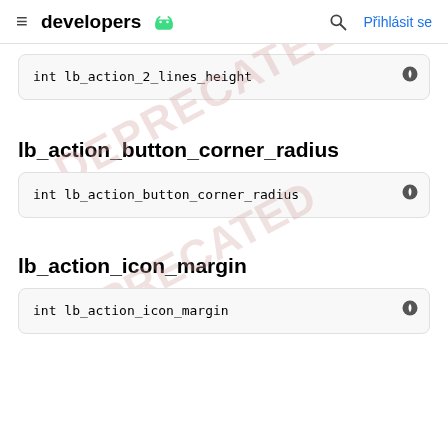≡ developers [android] 🔍 Přihlásit se
int lb_action_2_lines_height
lb_action_button_corner_radius
int lb_action_button_corner_radius
lb_action_icon_margin
int lb_action_icon_margin